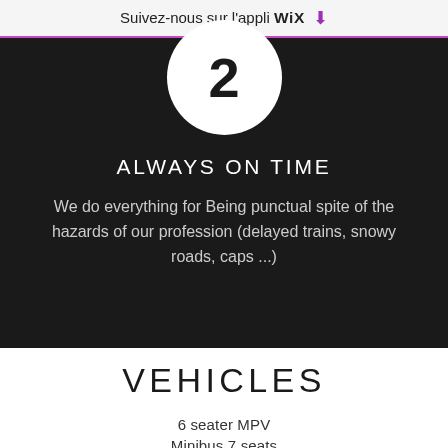Suivez-nous sur l'appli WiX ⬇
[Figure (illustration): Dark section with a white circle containing a large number 2 (or clock symbol), with text 'ALWAYS ON TIME' and body text below on dark background]
ALWAYS ON TIME
We do everything for Being punctual spite of the hazards of our profession (delayed trains, snowy roads, caps ...)
VEHICLES
6 seater MPV
Minibus 7 seats